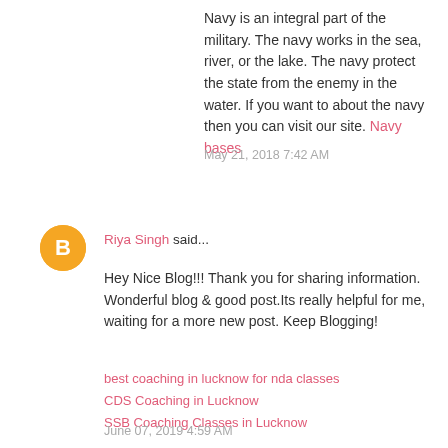Navy is an integral part of the military. The navy works in the sea, river, or the lake. The navy protect the state from the enemy in the water. If you want to about the navy then you can visit our site. Navy bases
May 21, 2018 7:42 AM
[Figure (logo): Orange circular Blogger avatar icon with white letter B in center]
Riya Singh said...
Hey Nice Blog!!! Thank you for sharing information. Wonderful blog & good post.Its really helpful for me, waiting for a more new post. Keep Blogging!
best coaching in lucknow for nda classes
CDS Coaching in Lucknow
SSB Coaching Classes in Lucknow
June 07, 2019 4:59 AM